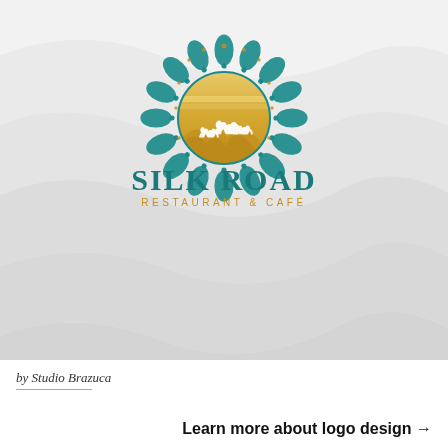[Figure (logo): Silk Road Restaurant & Café logo: mandala/flower border in teal, golden sun circle with desert dunes and camel silhouettes, text 'SILK ROAD' in teal bold, 'RESTAURANT & CAFÉ' in gold small caps, on a wavy grey background]
by Studio Brazuca
Learn more about logo design →